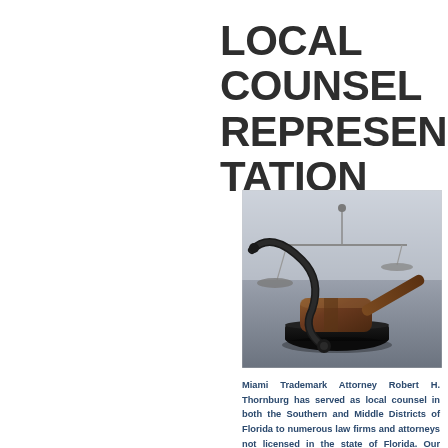LOCAL COUNSEL REPRESENTATION
[Figure (photo): A wooden judge's gavel resting on a black sound block, with scales of justice (balance scales) in the background, on a reflective dark surface]
Miami Trademark Attorney Robert H. Thornburg has served as local counsel in both the Southern and Middle Districts of Florida to numerous law firms and attorneys not licensed in the state of Florida. Our trademark law firm is well versed and experienced with the